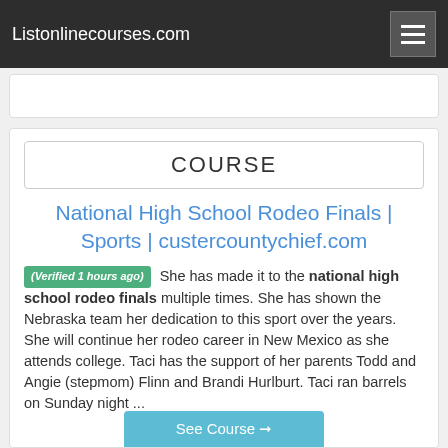Listonlinecourses.com
COURSE
National High School Rodeo Finals | Sports | custercountychief.com
(Verified 1 hours ago) She has made it to the national high school rodeo finals multiple times. She has shown the Nebraska team her dedication to this sport over the years. She will continue her rodeo career in New Mexico as she attends college. Taci has the support of her parents Todd and Angie (stepmom) Flinn and Brandi Hurlburt. Taci ran barrels on Sunday night ...
See Course